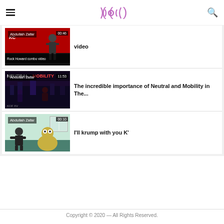Menu | Logo | Search
[Figure (screenshot): Video thumbnail: King of Fighters Rock Howard combo video, Abdullah Zafar, 00:46]
video
[Figure (screenshot): Video thumbnail: Neutral and Mobility, Abdullah Zafar, 11:53]
The incredible importance of Neutral and Mobility in The...
[Figure (screenshot): Video thumbnail: Simpsons meme, Abdullah Zafar, 00:10]
I'll krump with you K'
Copyright © 2020 — All Rights Reserved.